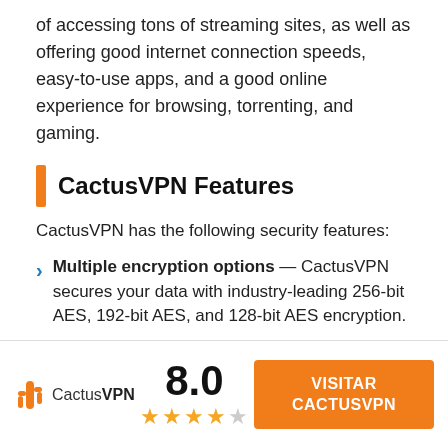of accessing tons of streaming sites, as well as offering good internet connection speeds, easy-to-use apps, and a good online experience for browsing, torrenting, and gaming.
CactusVPN Features
CactusVPN has the following security features:
Multiple encryption options — CactusVPN secures your data with industry-leading 256-bit AES, 192-bit AES, and 128-bit AES encryption.
No-logs policy — CactusVPN doesn't log your traffic history, personal information, or IP
[Figure (logo): CactusVPN logo with cactus icon, score 8.0, 4 out of 5 stars, and VISITAR CACTUSVPN orange button]